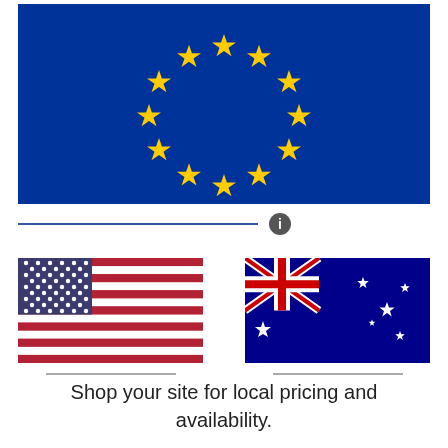[Figure (illustration): European Union flag with 12 gold stars arranged in a circle on a blue background]
[Figure (illustration): United States flag (Stars and Stripes) with red and white stripes and blue canton with white stars]
[Figure (illustration): Australian flag with Union Jack in upper left, blue background, and Southern Cross stars]
Shop your site for local pricing and availability.